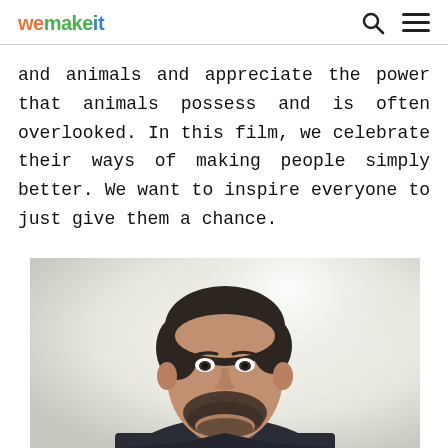wemakeit
and animals and appreciate the power that animals possess and is often overlooked. In this film, we celebrate their ways of making people simply better. We want to inspire everyone to just give them a chance.
[Figure (photo): Portrait photo of a young bearded man with dark hair, wearing a dark jacket, looking at the camera against a bright blurred background.]